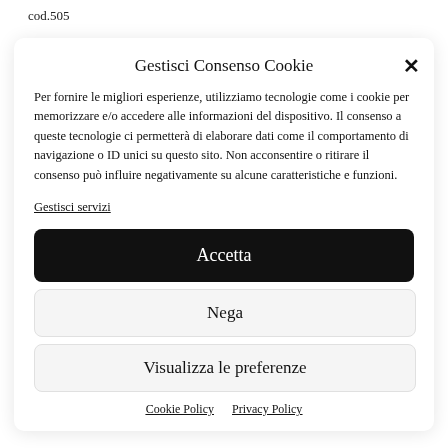cod.505
Gestisci Consenso Cookie
Per fornire le migliori esperienze, utilizziamo tecnologie come i cookie per memorizzare e/o accedere alle informazioni del dispositivo. Il consenso a queste tecnologie ci permetterà di elaborare dati come il comportamento di navigazione o ID unici su questo sito. Non acconsentire o ritirare il consenso può influire negativamente su alcune caratteristiche e funzioni.
Gestisci servizi
Accetta
Nega
Visualizza le preferenze
Cookie Policy   Privacy Policy